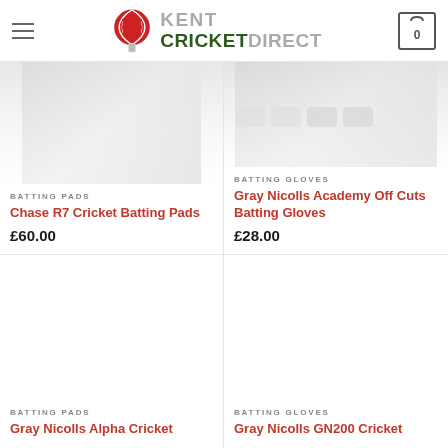Kent Cricket Direct — navigation header with hamburger menu, logo, and cart icon showing 0
BATTING PADS
Chase R7 Cricket Batting Pads
£60.00
BATTING GLOVES
Gray Nicolls Academy Off Cuts Batting Gloves
£28.00
BATTING PADS
Gray Nicolls Alpha Cricket
BATTING GLOVES
Gray Nicolls GN200 Cricket